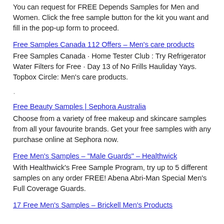You can request for FREE Depends Samples for Men and Women. Click the free sample button for the kit you want and fill in the pop-up form to proceed.
Free Samples Canada 112 Offers – Men's care products
Free Samples Canada · Home Tester Club : Try Refrigerator Water Filters for Free · Day 13 of No Frills Hauliday Yays. Topbox Circle: Men's care products.
Free Beauty Samples | Sephora Australia
Choose from a variety of free makeup and skincare samples from all your favourite brands. Get your free samples with any purchase online at Sephora now.
Free Men's Samples – "Male Guards" – Healthwick
With Healthwick's Free Sample Program, try up to 5 different samples on any order FREE! Abena Abri-Man Special Men's Full Coverage Guards.
17 Free Men's Samples – Brickell Men's Products